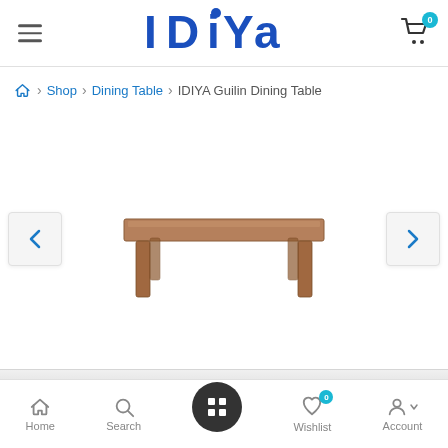[Figure (logo): IDIYA brand logo in bold blue text with stylized letters]
Shop > Dining Table > IDIYA Guilin Dining Table
[Figure (photo): IDIYA Guilin Dining Table product photo - a wooden rectangular dining table with four legs, shown from a slight angle]
Home  Search  (grid icon)  Wishlist 0  Account